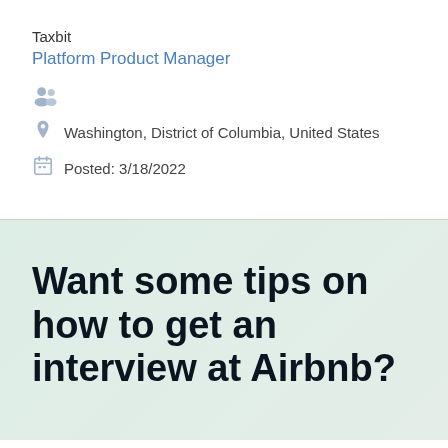Taxbit
Platform Product Manager
[Figure (illustration): People/team icon in light blue-gray color]
Washington, District of Columbia, United States
Posted: 3/18/2022
Want some tips on how to get an interview at Airbnb?